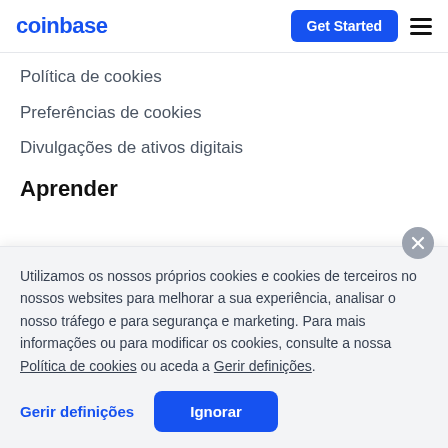coinbase | Get Started
Política de cookies
Preferências de cookies
Divulgações de ativos digitais
Aprender
Utilizamos os nossos próprios cookies e cookies de terceiros no nossos websites para melhorar a sua experiência, analisar o nosso tráfego e para segurança e marketing. Para mais informações ou para modificar os cookies, consulte a nossa Política de cookies ou aceda a Gerir definições.